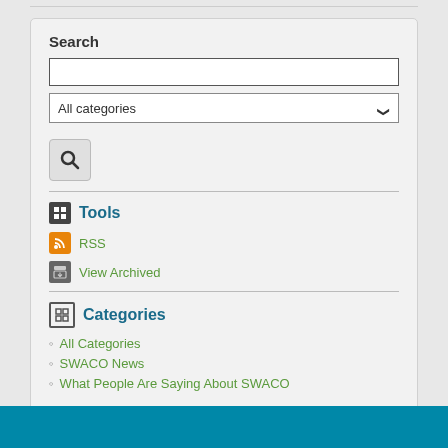Search
[Figure (screenshot): Search input text field, All categories dropdown selector, and search button with magnifying glass icon]
Tools
RSS
View Archived
Categories
All Categories
SWACO News
What People Are Saying About SWACO